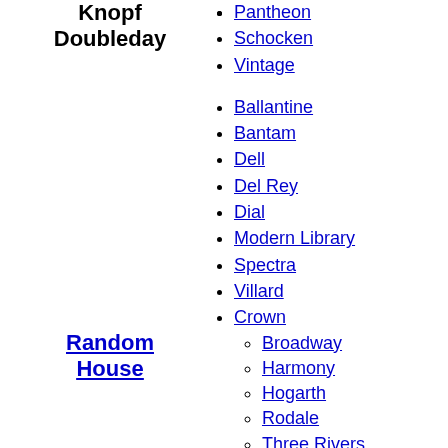Knopf
Doubleday
Pantheon
Schocken
Vintage
Ballantine
Bantam
Dell
Del Rey
Dial
Modern Library
Spectra
Villard
Crown
Broadway
Harmony
Hogarth
Rodale
Three Rivers
Ten Speed
Watson-Guptill
Children's
Beginner Books
Random House